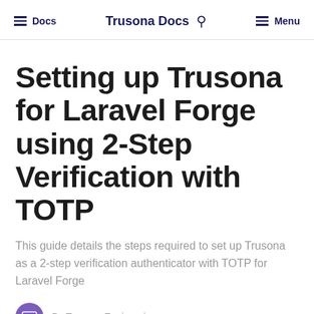Docs  Trusona Docs  Menu
Setting up Trusona for Laravel Forge using 2-Step Verification with TOTP
This guide details the steps required to set up Trusona as a 2-step verification authenticator with TOTP for Laravel Forge
By Trusona Engineering